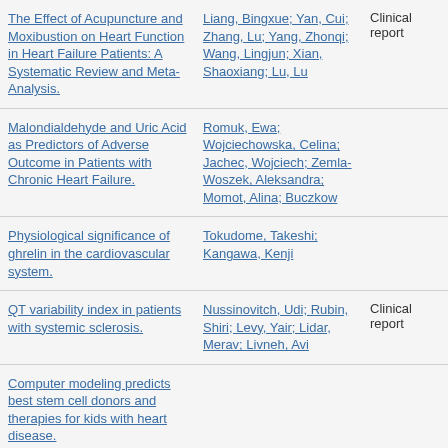| Title | Authors | Type |
| --- | --- | --- |
| The Effect of Acupuncture and Moxibustion on Heart Function in Heart Failure Patients: A Systematic Review and Meta-Analysis. | Liang, Bingxue; Yan, Cui; Zhang, Lu; Yang, Zhonqi; Wang, Lingjun; Xian, Shaoxiang; Lu, Lu | Clinical report |
| Malondialdehyde and Uric Acid as Predictors of Adverse Outcome in Patients with Chronic Heart Failure. | Romuk, Ewa; Wojciechowska, Celina; Jachec, Wojciech; Zemla-Woszek, Aleksandra; Momot, Alina; Buczkow |  |
| Physiological significance of ghrelin in the cardiovascular system. | Tokudome, Takeshi; Kangawa, Kenji |  |
| QT variability index in patients with systemic sclerosis. | Nussinovitch, Udi; Rubin, Shiri; Levy, Yair; Lidar, Merav; Livneh, Avi | Clinical report |
| Computer modeling predicts best stem cell donors and therapies for kids with heart disease. |  |  |
| Genetic Liability to Insomnia Linked to Increased Odds of CVDs; Mendelian randomization analyses revealed greater... |  |  |